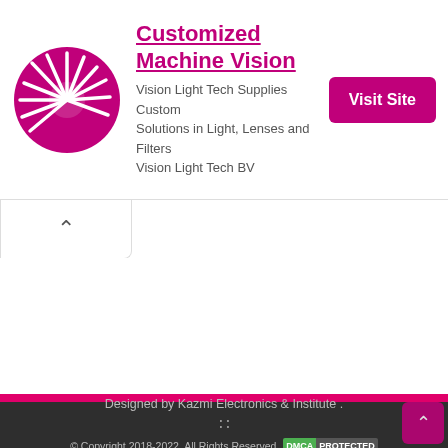[Figure (infographic): Ad banner with magenta sunburst logo icon, ad title 'Customized Machine Vision', description text, and a 'Visit Site' button]
Customized Machine Vision
Vision Light Tech Supplies Custom Solutions in Light, Lenses and Filters Vision Light Tech BV
[Figure (other): Collapse/accordion tab with upward chevron arrow]
Designed by Kazmi Electronics & Institute . © Copyright 2018-2022, All Rights Reserved. DMCA PROTECTED